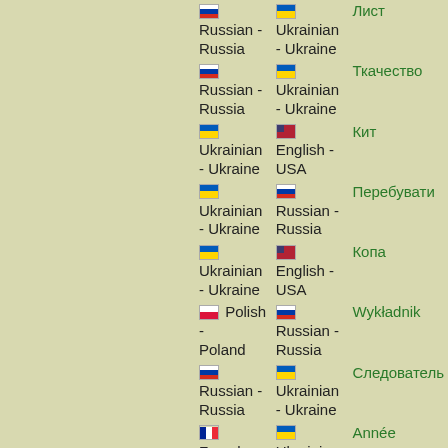| From | To | Word |
| --- | --- | --- |
| Russian - Russia | Ukrainian - Ukraine | Лист |
| Russian - Russia | Ukrainian - Ukraine | Ткачество |
| Ukrainian - Ukraine | English - USA | Кит |
| Ukrainian - Ukraine | Russian - Russia | Перебувати |
| Ukrainian - Ukraine | English - USA | Копа |
| Polish - Poland | Russian - Russia | Wykładnik |
| Russian - Russia | Ukrainian - Ukraine | Следователь |
| French - France | Ukrainian - Ukraine | Année |
| Ukrainian - Ukraine | Polish - Poland | Аеропорт |
| Ukrainian - Ukraine | Polish - Poland | Купол |
| Ukrainian - Ukraine | English - USA | Акціонерни |
| Ukrainian - Ukraine | Russian - Russia | Тіло |